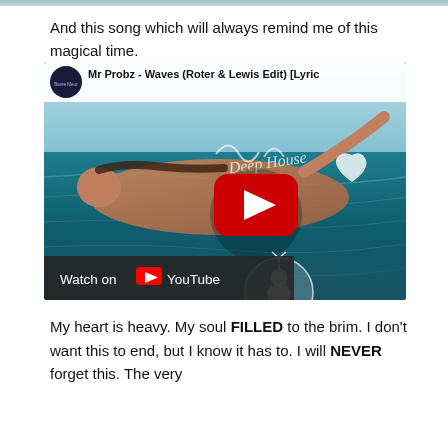[Figure (screenshot): Top edge of a previous image, partially cropped at the top of the page]
And this song which will always remind me of this magical time.
[Figure (screenshot): Embedded YouTube video thumbnail showing Mr Probz - Waves (Roter & Lewis Edit) [Lyric...] with a woman floating in ocean water, YouTube play button, Deep House watermark, deer logo, and Watch on YouTube bar]
My heart is heavy. My soul FILLED to the brim. I don't want this to end, but I know it has to. I will NEVER forget this. The very